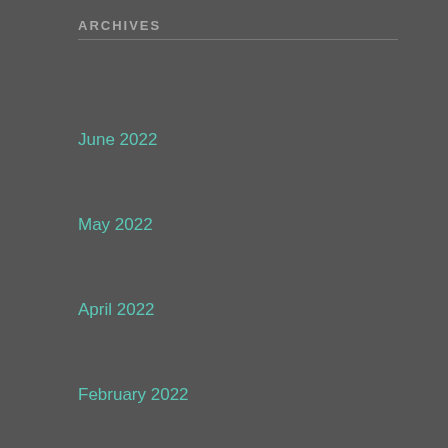ARCHIVES
June 2022
May 2022
April 2022
February 2022
December 2021
November 2021
October 2021
June 2021
May 2021